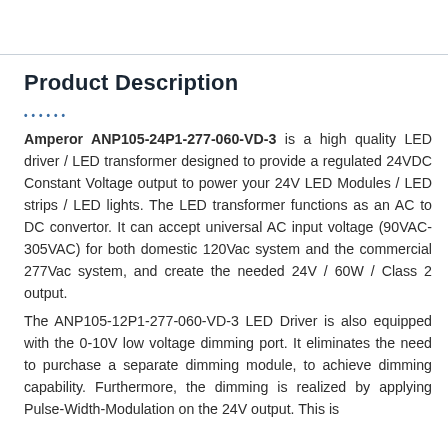Product Description
Amperor ANP105-24P1-277-060-VD-3 is a high quality LED driver / LED transformer designed to provide a regulated 24VDC Constant Voltage output to power your 24V LED Modules / LED strips / LED lights. The LED transformer functions as an AC to DC convertor. It can accept universal AC input voltage (90VAC-305VAC) for both domestic 120Vac system and the commercial 277Vac system, and create the needed 24V / 60W / Class 2 output.
The ANP105-12P1-277-060-VD-3 LED Driver is also equipped with the 0-10V low voltage dimming port. It eliminates the need to purchase a separate dimming module, to achieve dimming capability. Furthermore, the dimming is realized by applying Pulse-Width-Modulation on the 24V output. This is